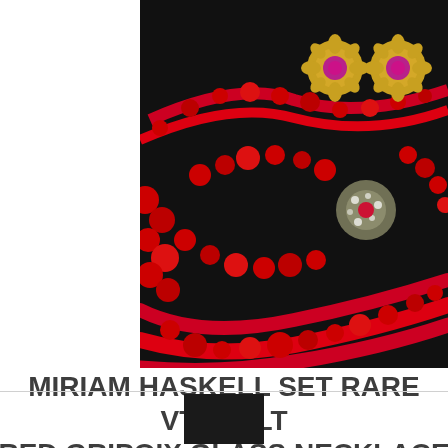[Figure (photo): Product photo of Miriam Haskell jewelry set: red Gripoix glass bead necklace, gold gilt flower clip earrings, and a rhinestone brooch arranged on a black background.]
MIRIAM HASKELL SET RARE VTG GILT RED GRIPOIX GLASS NECKLACE EARRINGS SIGNED A34
$1572.50
[Figure (photo): Partial view of another product thumbnail at the bottom of the page.]